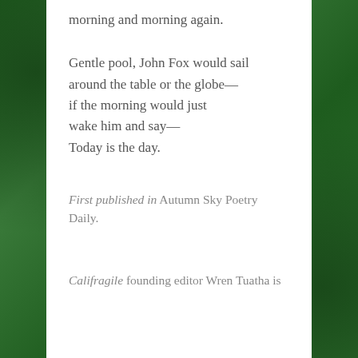morning and morning again.
Gentle pool, John Fox would sail
around the table or the globe—
if the morning would just
wake him and say—
Today is the day.
First published in Autumn Sky Poetry Daily.
Califragile founding editor Wren Tuatha is